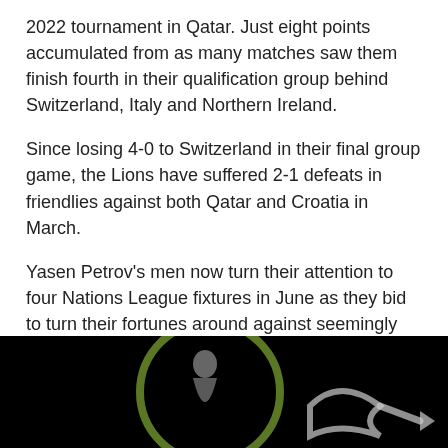2022 tournament in Qatar. Just eight points accumulated from as many matches saw them finish fourth in their qualification group behind Switzerland, Italy and Northern Ireland.
Since losing 4-0 to Switzerland in their final group game, the Lions have suffered 2-1 defeats in friendlies against both Qatar and Croatia in March.
Yasen Petrov's men now turn their attention to four Nations League fixtures in June as they bid to turn their fortunes around against seemingly favourable opponents.
[Figure (photo): Dark image showing a sports/football-related graphic or scene with circular design elements in green/white on black background]